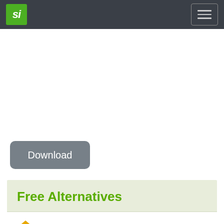si | menu
Download
Free Alternatives
1st Email Searcher